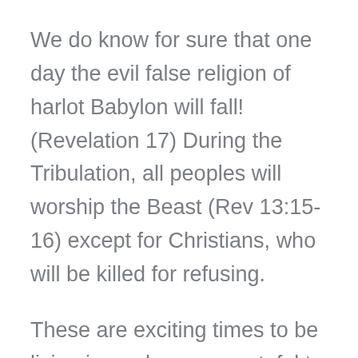We do know for sure that one day the evil false religion of harlot Babylon will fall! (Revelation 17) During the Tribulation, all peoples will worship the Beast (Rev 13:15-16) except for Christians, who will be killed for refusing.
These are exciting times to be living in, and we are grateful to the Lord